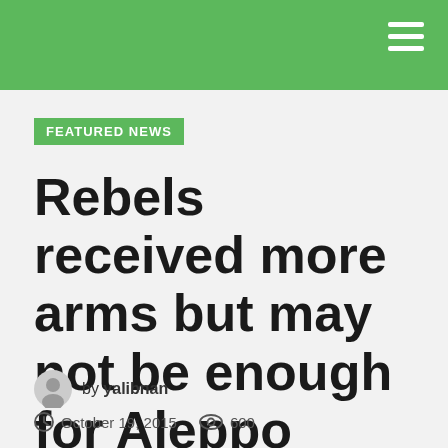FEATURED NEWS
Rebels received more arms but may not be enough for Aleppo battle
by yalibnan
October 19, 2015   600